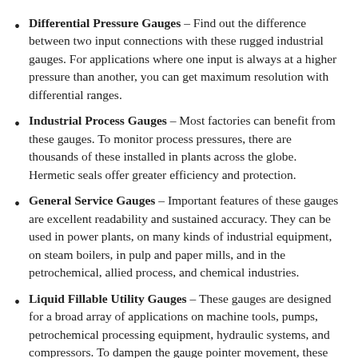Differential Pressure Gauges – Find out the difference between two input connections with these rugged industrial gauges. For applications where one input is always at a higher pressure than another, you can get maximum resolution with differential ranges.
Industrial Process Gauges – Most factories can benefit from these gauges. To monitor process pressures, there are thousands of these installed in plants across the globe. Hermetic seals offer greater efficiency and protection.
General Service Gauges – Important features of these gauges are excellent readability and sustained accuracy. They can be used in power plants, on many kinds of industrial equipment, on steam boilers, in pulp and paper mills, and in the petrochemical, allied process, and chemical industries.
Liquid Fillable Utility Gauges – These gauges are designed for a broad array of applications on machine tools, pumps, petrochemical processing equipment, hydraulic systems, and compressors. To dampen the gauge pointer movement, these